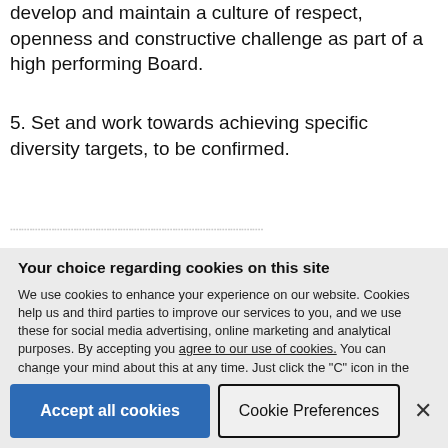develop and maintain a culture of respect, openness and constructive challenge as part of a high performing Board.
5. Set and work towards achieving specific diversity targets, to be confirmed.
[faded/obscured text line]
Your choice regarding cookies on this site
We use cookies to enhance your experience on our website. Cookies help us and third parties to improve our services to you, and we use these for social media advertising, online marketing and analytical purposes. By accepting you agree to our use of cookies. You can change your mind about this at any time. Just click the "C" icon in the bottom-left corner of any page. Have a look at our privacy policy
Accept all cookies | Cookie Preferences | ×